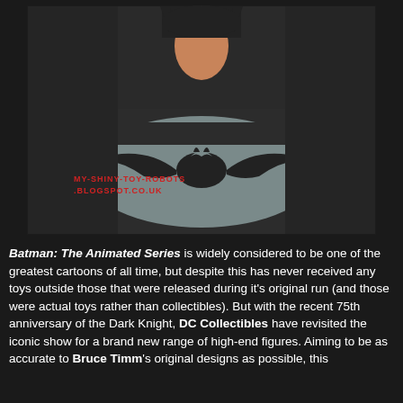[Figure (photo): Close-up photo of a Batman: The Animated Series collectible figure showing the chest area with the bat logo on a grey field, black costume, and neck/lower head visible. A red watermark reads 'MY-SHINY-TOY-ROBOTS.BLOGSPOT.CO.UK'.]
Batman: The Animated Series is widely considered to be one of the greatest cartoons of all time, but despite this has never received any toys outside those that were released during it's original run (and those were actual toys rather than collectibles). But with the recent 75th anniversary of the Dark Knight, DC Collectibles have revisited the iconic show for a brand new range of high-end figures. Aiming to be as accurate to Bruce Timm's original designs as possible, this